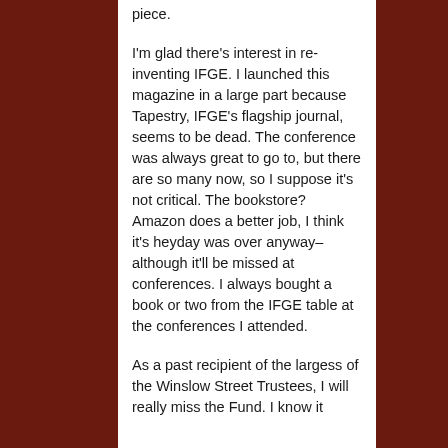piece.
I'm glad there's interest in re-inventing IFGE. I launched this magazine in a large part because Tapestry, IFGE's flagship journal, seems to be dead. The conference was always great to go to, but there are so many now, so I suppose it's not critical. The bookstore? Amazon does a better job, I think it's heyday was over anyway– although it'll be missed at conferences. I always bought a book or two from the IFGE table at the conferences I attended.
As a past recipient of the largess of the Winslow Street Trustees, I will really miss the Fund. I know it